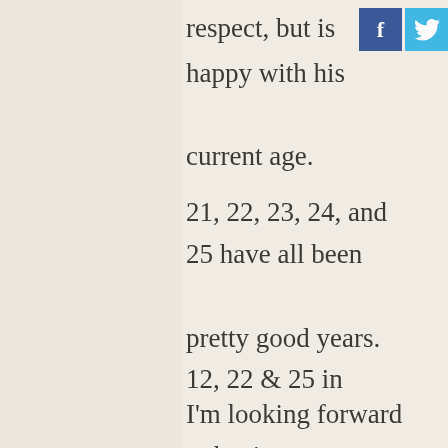respect, but is happy with his current age.
[Figure (other): Social media share buttons: Facebook (blue with f icon) and Twitter (light blue with bird icon)]
21, 22, 23, 24, and 25 have all been pretty good years. 12, 22 & 25 in particular.
I'm looking forward to having my age...